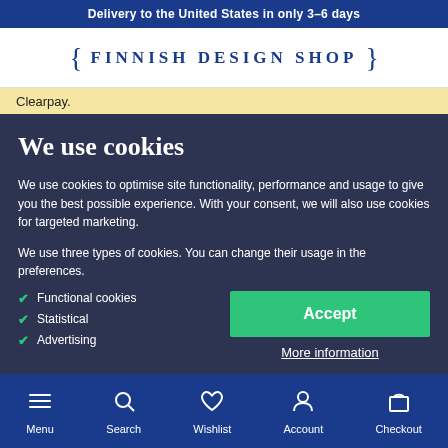Delivery to the United States in only 3–6 days
[Figure (logo): Finnish Design Shop logo with decorative braces]
Clearpay.
We use cookies
We use cookies to optimise site functionality, performance and usage to give you the best possible experience. With your consent, we will also use cookies for targeted marketing.
We use three types of cookies. You can change their usage in the preferences.
Functional cookies
Statistical
Advertising
Accept
More information
Menu  Search  Wishlist  Account  Checkout